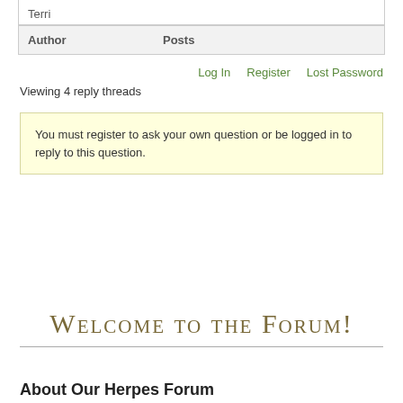Terri
| Author | Posts |
| --- | --- |
Log In   Register   Lost Password
Viewing 4 reply threads
You must register to ask your own question or be logged in to reply to this question.
Welcome to the Forum!
About Our Herpes Forum